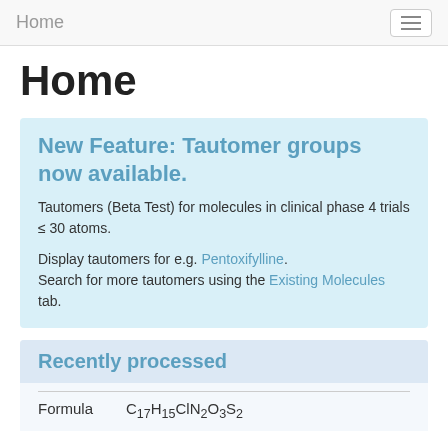Home
Home
New Feature: Tautomer groups now available.
Tautomers (Beta Test) for molecules in clinical phase 4 trials ≤ 30 atoms.
Display tautomers for e.g. Pentoxifylline. Search for more tautomers using the Existing Molecules tab.
Recently processed
Formula   C17H15ClN2O3S2